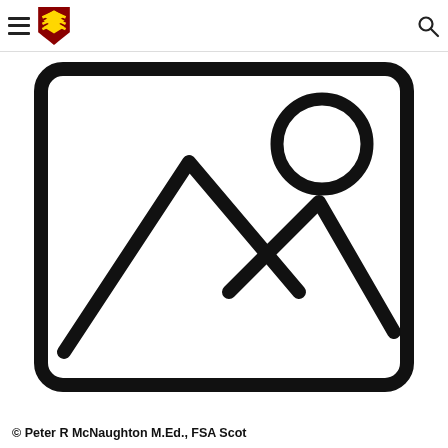[Figure (illustration): Generic image placeholder icon: a rounded-rectangle border containing mountain/landscape silhouette outlines and a circle (sun) in the upper right, rendered in thick black strokes on white background.]
© Peter R McNaughton M.Ed., FSA Scot